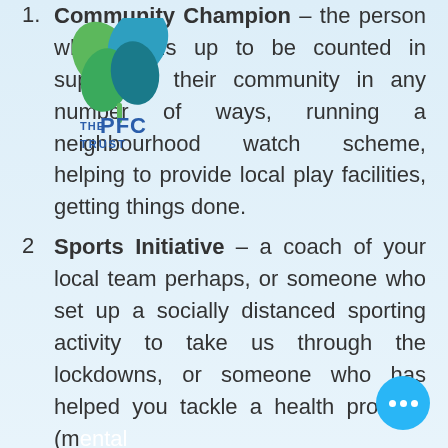Community Champion – the person who stands up to be counted in supporting their community in any number of ways, running a neighbourhood watch scheme, helping to provide local play facilities, getting things done.
[Figure (logo): The PFC Trust logo: a four-leaf shamrock in green and blue with the text 'THE PFC TRUST' in blue below]
Sports Initiative – a coach of your local team perhaps, or someone who set up a socially distanced sporting activity to take us through the lockdowns, or someone who has helped you tackle a health problem (mental